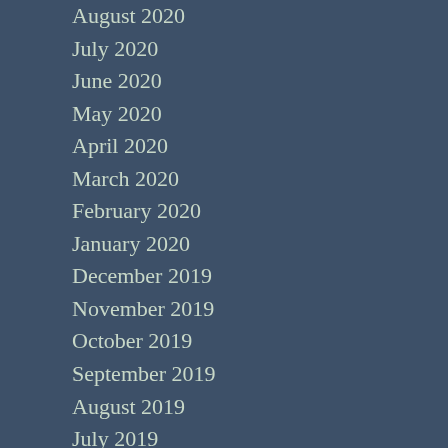August 2020
July 2020
June 2020
May 2020
April 2020
March 2020
February 2020
January 2020
December 2019
November 2019
October 2019
September 2019
August 2019
July 2019
June 2019
May 2019
April 2019
March 2019